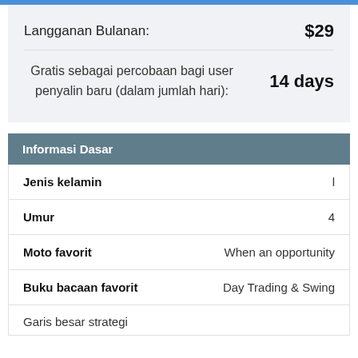| Field | Value |
| --- | --- |
| Langganan Bulanan: | $29 |
| Gratis sebagai percobaan bagi user penyalin baru (dalam jumlah hari): | 14 days |
Informasi Dasar
| Field | Value |
| --- | --- |
| Jenis kelamin | l |
| Umur | 4 |
| Moto favorit | When an opportunity |
| Buku bacaan favorit | Day Trading & Swing |
Garis besar strategi